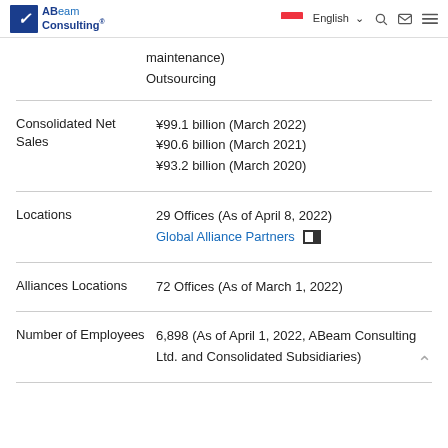ABeam Consulting | English
maintenance)
Outsourcing
| Field | Value |
| --- | --- |
| Consolidated Net Sales | ¥99.1 billion (March 2022)
¥90.6 billion (March 2021)
¥93.2 billion (March 2020) |
| Locations | 29 Offices (As of April 8, 2022)
Global Alliance Partners |
| Alliances Locations | 72 Offices (As of March 1, 2022) |
| Number of Employees | 6,898 (As of April 1, 2022, ABeam Consulting Ltd. and Consolidated Subsidiaries) |